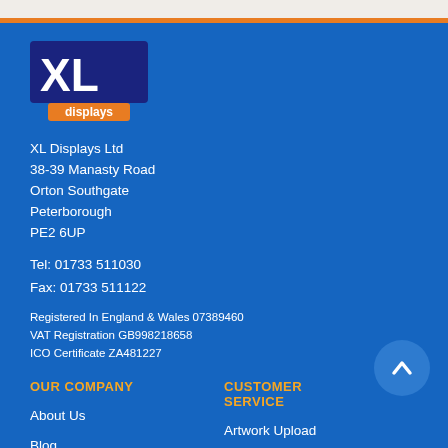[Figure (logo): XL Displays logo — dark navy blue rectangle with white bold 'XL' text, and an orange rectangle below with white 'displays' text]
XL Displays Ltd
38-39 Manasty Road
Orton Southgate
Peterborough
PE2 6UP
Tel: 01733 511030
Fax: 01733 511122
Registered In England & Wales 07389460
VAT Registration GB998218658
ICO Certificate ZA481227
OUR COMPANY
CUSTOMER SERVICE
About Us
Artwork Upload
Blog
Price Promise